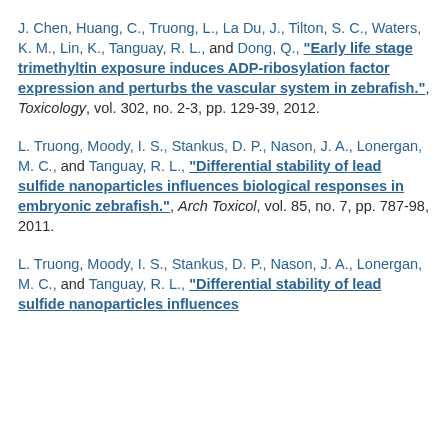J. Chen, Huang, C., Truong, L., La Du, J., Tilton, S. C., Waters, K. M., Lin, K., Tanguay, R. L., and Dong, Q., "Early life stage trimethyltin exposure induces ADP-ribosylation factor expression and perturbs the vascular system in zebrafish.", Toxicology, vol. 302, no. 2-3, pp. 129-39, 2012.
L. Truong, Moody, I. S., Stankus, D. P., Nason, J. A., Lonergan, M. C., and Tanguay, R. L., "Differential stability of lead sulfide nanoparticles influences biological responses in embryonic zebrafish.", Arch Toxicol, vol. 85, no. 7, pp. 787-98, 2011.
L. Truong, Moody, I. S., Stankus, D. P., Nason, J. A., Lonergan, M. C., and Tanguay, R. L., "Differential stability of lead sulfide nanoparticles influences...